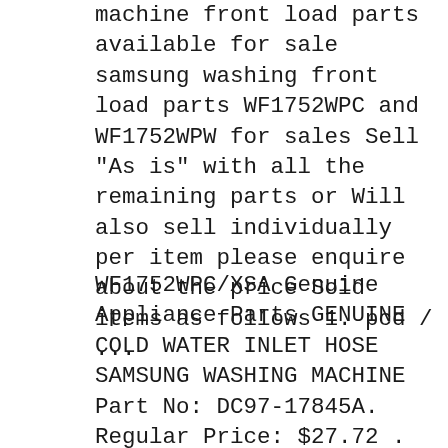machine front load parts available for sale samsung washing front load parts WF1752WPC and WF1752WPW for sales Sell "As is" with all the remaining parts or Will also sell individually per item please enquire about the price Sold items as follows 1. pcd / ...
WF1752WPC/XSA Genuine Appliance Parts GENUINE COLD WATER INLET HOSE SAMSUNG WASHING MACHINE Part No: DC97-17845A. Regular Price: $27.72 . Special Price $24.95 . Add to Wishlist Add to Compare ; SPIDER ASSY Part No: DC97-14370D . Regular Price: $138.83 . Special Price $124 samsung ecobubble washing machine door seal gasket wf1752wpc wf1752wpc/xsa